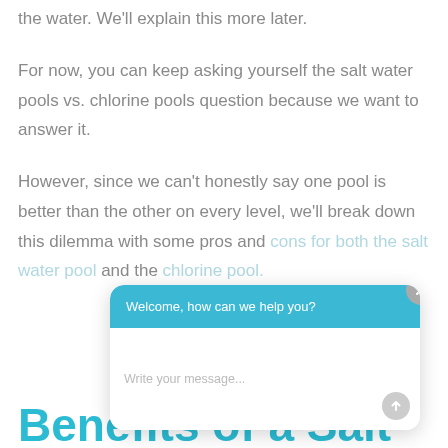the water. We'll explain this more later.
For now, you can keep asking yourself the salt water pools vs. chlorine pools question because we want to answer it.
However, since we can't honestly say one pool is better than the other on every level, we'll break down this dilemma with some pros and cons for both the salt water pool and the chlorine pool.
[Figure (screenshot): Chat widget overlay with teal header reading 'Welcome, how can we help you?' and a text input area with placeholder 'Write your message...' and a send button. A close button appears in the top-right corner.]
Benefits of a Salt